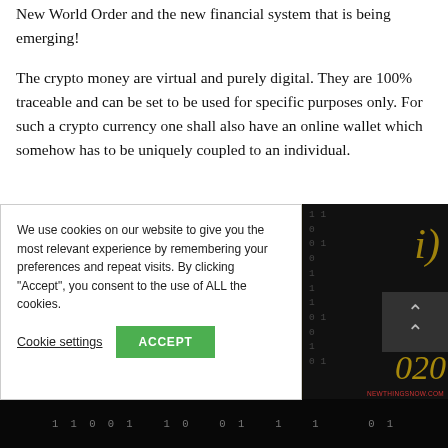New World Order and the new financial system that is being emerging!
The crypto money are virtual and purely digital. They are 100% traceable and can be set to be used for specific purposes only. For such a crypto currency one shall also have an online wallet which somehow has to be uniquely coupled to an individual.
[Figure (screenshot): Cookie consent overlay on top of a dark image showing binary code and gold '2020' text. The overlay has text about cookies and two buttons: 'Cookie settings' and 'ACCEPT'.]